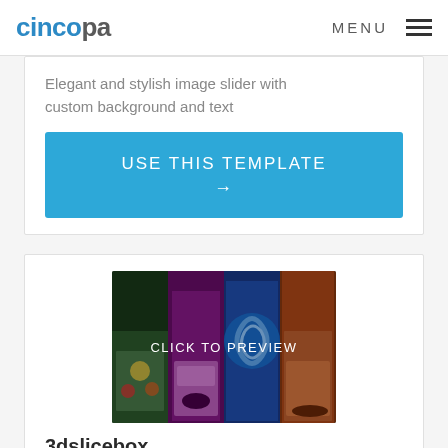cincopa  MENU
Elegant and stylish image slider with custom background and text
USE THIS TEMPLATE →
[Figure (screenshot): 3D slicebox preview image showing animated movie car characters (Cars movie) in a fan/slice layout with 'CLICK TO PREVIEW' overlay text]
3dslicebox
Amazing, innovative 3D slicebox image